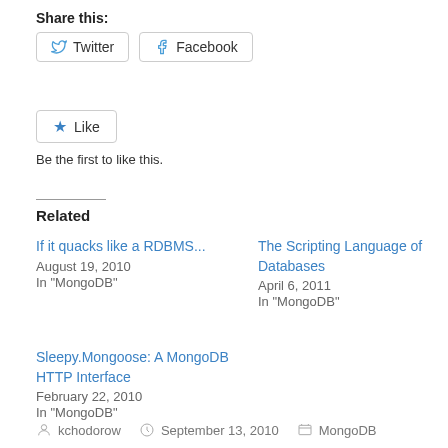Share this:
Twitter  Facebook
Like  Be the first to like this.
Related
If it quacks like a RDBMS...
August 19, 2010
In "MongoDB"
The Scripting Language of Databases
April 6, 2011
In "MongoDB"
Sleepy.Mongoose: A MongoDB HTTP Interface
February 22, 2010
In "MongoDB"
kchodorow   September 13, 2010   MongoDB